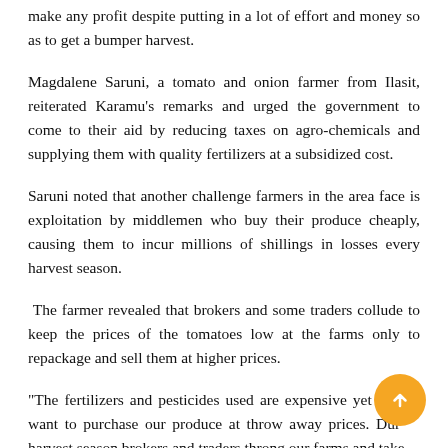make any profit despite putting in a lot of effort and money so as to get a bumper harvest.
Magdalene Saruni, a tomato and onion farmer from Ilasit, reiterated Karamu’s remarks and urged the government to come to their aid by reducing taxes on agro-chemicals and supplying them with quality fertilizers at a subsidized cost.
Saruni noted that another challenge farmers in the area face is exploitation by middlemen who buy their produce cheaply, causing them to incur millions of shillings in losses every harvest season.
The farmer revealed that brokers and some traders collude to keep the prices of the tomatoes low at the farms only to repackage and sell them at higher prices.
“The fertilizers and pesticides used are expensive yet traders want to purchase our produce at throw away prices. During harvest season brokers and traders throng our farms and take